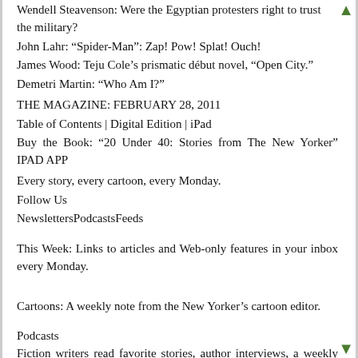Wendell Steavenson: Were the Egyptian protesters right to trust the military?
John Lahr: “Spider-Man”: Zap! Pow! Splat! Ouch!
James Wood: Teju Cole’s prismatic début novel, “Open City.”
Demetri Martin: “Who Am I?”
THE MAGAZINE: FEBRUARY 28, 2011
Table of Contents | Digital Edition | iPad
Buy the Book: “20 Under 40: Stories from The New Yorker” IPAD APP
Every story, every cartoon, every Monday.
Follow Us
NewslettersPodcastsFeeds
This Week: Links to articles and Web-only features in your inbox every Monday.
Cartoons: A weekly note from the New Yorker's cartoon editor.
Podcasts
Fiction writers read favorite stories, author interviews, a weekly political roundtable. Subscribe via iTunes.